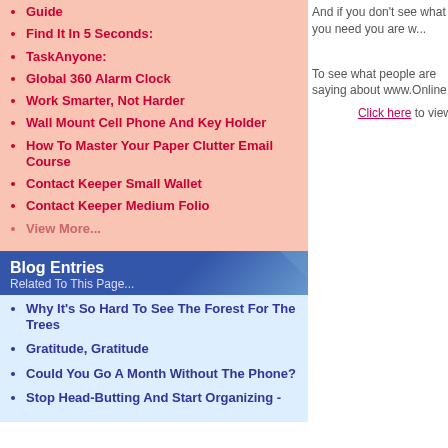Guide
Find It In 5 Seconds:
TaskAnyone:
Global 360 Alarm Clock
Work Smarter, Not Harder
Wall Mount Cell Phone And Key Holder
How To Master Your Paper Clutter Email Course
Contact Keeper Small Wallet
Contact Keeper Medium Folio
View More...
Blog Entries
Related To This Page...
Why It's So Hard To See The Forest For The Trees
Gratitude, Gratitude
Could You Go A Month Without The Phone?
Stop Head-Butting And Start Organizing -
And if you don't see what you need you are w...
To see what people are saying about www.Online
Click here to view